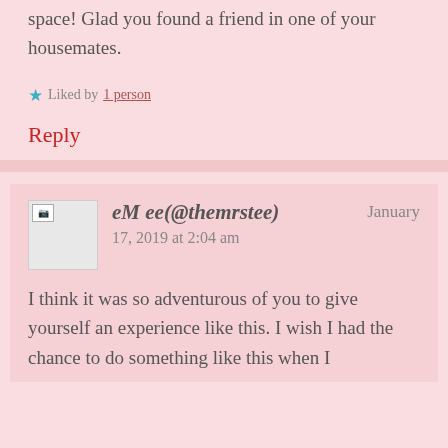space! Glad you found a friend in one of your housemates.
Liked by 1 person
Reply
eM ee(@themrstee) January 17, 2019 at 2:04 am
I think it was so adventurous of you to give yourself an experience like this. I wish I had the chance to do something like this when I